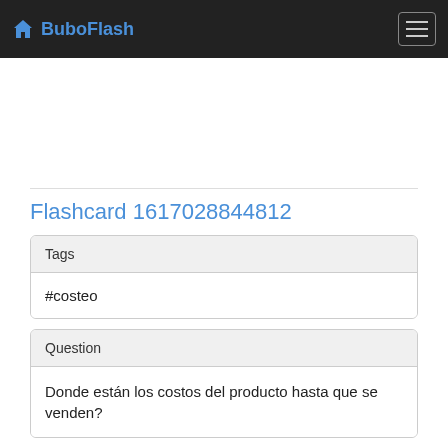BuboFlash
Flashcard 1617028844812
| Tags |
| --- |
| #costeo |
| Question |
| --- |
| Donde están los costos del producto hasta que se venden? |